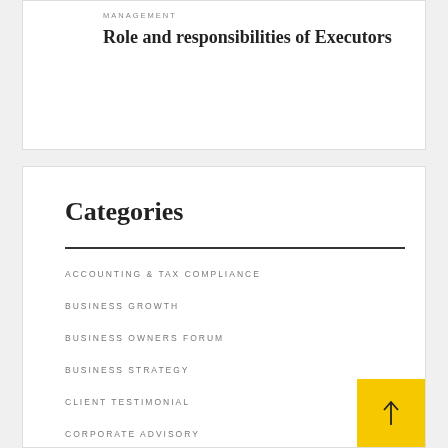MANAGEMENT
Role and responsibilities of Executors
Categories
ACCOUNTING & TAX COMPLIANCE
BUSINESS GROWTH
BUSINESS OWNERS FORUM
BUSINESS STRATEGY
CLIENT TESTIMONIAL
CORPORATE ADVISORY